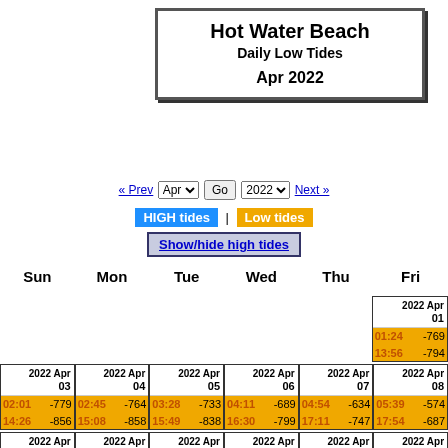Hot Water Beach Daily Low Tides Apr 2022
« Prev | Apr | Go | 2022 | Next »
HIGH tides | Low tides
Show/hide high tides
| Sun | Mon | Tue | Wed | Thu | Fri |
| --- | --- | --- | --- | --- | --- |
|  |  |  |  |  | 2022 Apr 01
01:24 -769
13:56 -794 |
| 2022 Apr 03
02:01 -779
14:26 -856 | 2022 Apr 04
02:45 -764
15:08 -858 | 2022 Apr 05
03:28 -733
15:49 -838 | 2022 Apr 06
04:11 -689
16:30 -799 | 2022 Apr 07
04:54 -634
17:11 -747 | 2022 Apr 08
05:39 -574
17:54 -687 |
| 2022 Apr 10 | 2022 Apr 11 | 2022 Apr 12 | 2022 Apr 13 | 2022 Apr 14 | 2022 Apr 15 |